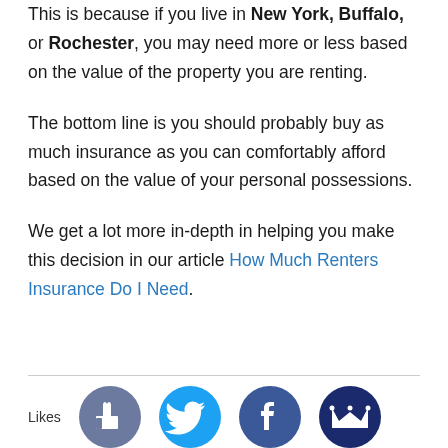This is because if you live in New York, Buffalo, or Rochester, you may need more or less based on the value of the property you are renting.
The bottom line is you should probably buy as much insurance as you can comfortably afford based on the value of your personal possessions.
We get a lot more in-depth in helping you make this decision in our article How Much Renters Insurance Do I Need.
[Figure (other): Social sharing bar with Likes label and four circular icon buttons: thumbs-up (gray-blue), Twitter bird (cyan), Facebook f (dark blue), and a crown/Kingsumo icon (dark blue)]